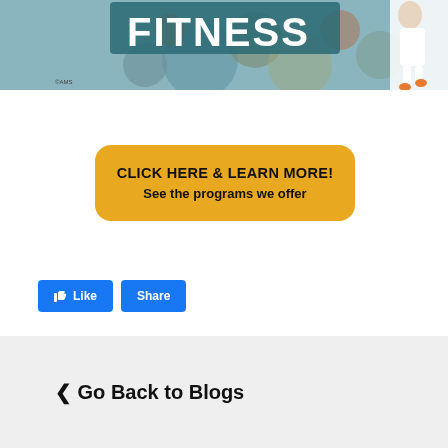[Figure (photo): Partial fitness promotional banner image with 'FITNESS' text, decorative circles in teal/orange/brown colors, and a person in white clothing jumping or kicking. Copyright mark '©AMS' visible at bottom left of image.]
©AMS
[Figure (infographic): Yellow/gold rounded rectangle CTA button with text 'CLICK HERE & LEARN MORE! See the programs we offer']
CLICK HERE & LEARN MORE!
See the programs we offer
[Figure (screenshot): Facebook Like and Share buttons in blue]
Like
Share
< Go Back to Blogs